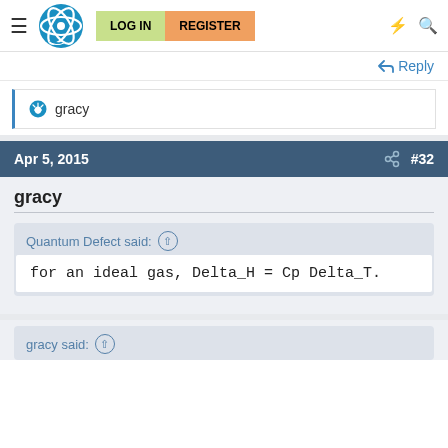LOG IN | REGISTER
↩ Reply
👍 gracy
Apr 5, 2015  #32
gracy
Quantum Defect said: ↑
for an ideal gas, Delta_H = Cp Delta_T.
gracy said: ↑